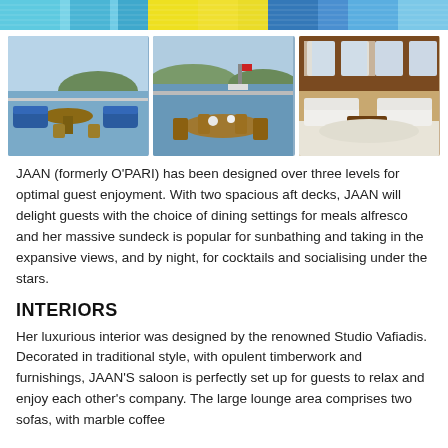[Figure (photo): Top banner with blue and yellow striped pattern, appears to be part of yacht exterior or flag]
[Figure (photo): Three photos of yacht: left shows blue cushioned outdoor seating area with wooden table overlooking water and islands; center shows outdoor dining table with chairs on yacht deck with red-flagged vessel in background; right shows luxurious indoor saloon with white sofas and wooden paneling]
JAAN (formerly O'PARI) has been designed over three levels for optimal guest enjoyment. With two spacious aft decks, JAAN will delight guests with the choice of dining settings for meals alfresco and her massive sundeck is popular for sunbathing and taking in the expansive views, and by night, for cocktails and socialising under the stars.
INTERIORS
Her luxurious interior was designed by the renowned Studio Vafiadis. Decorated in traditional style, with opulent timberwork and furnishings, JAAN'S saloon is perfectly set up for guests to relax and enjoy each other's company. The large lounge area comprises two sofas, with marble coffee